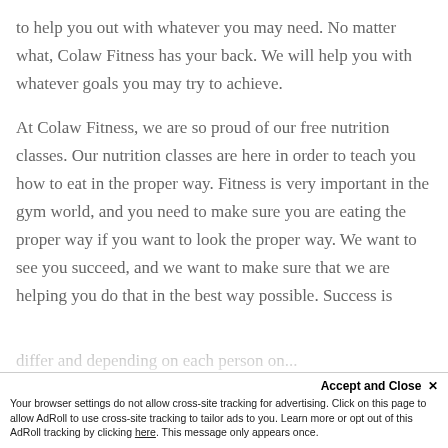to help you out with whatever you may need. No matter what, Colaw Fitness has your back. We will help you with whatever goals you may try to achieve.
At Colaw Fitness, we are so proud of our free nutrition classes. Our nutrition classes are here in order to teach you how to eat in the proper way. Fitness is very important in the gym world, and you need to make sure you are eating the proper way if you want to look the proper way. We want to see you succeed, and we want to make sure that we are helping you do that in the best way possible. Success is
Accept and Close ✕
Your browser settings do not allow cross-site tracking for advertising. Click on this page to allow AdRoll to use cross-site tracking to tailor ads to you. Learn more or opt out of this AdRoll tracking by clicking here. This message only appears once.